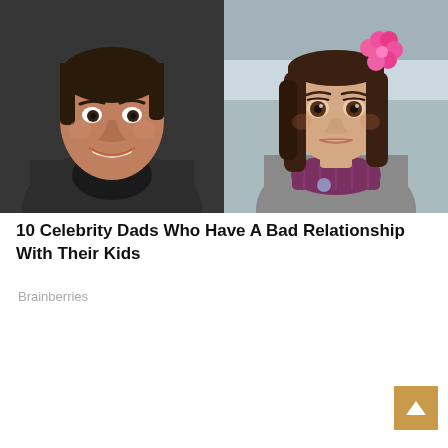[Figure (photo): Split photo showing a man (left) in a dark jacket smiling, and a young girl (right) with a pink flower in her hair wearing a gray coat with a purple patterned scarf]
10 Celebrity Dads Who Have A Bad Relationship With Their Kids
Brainberries